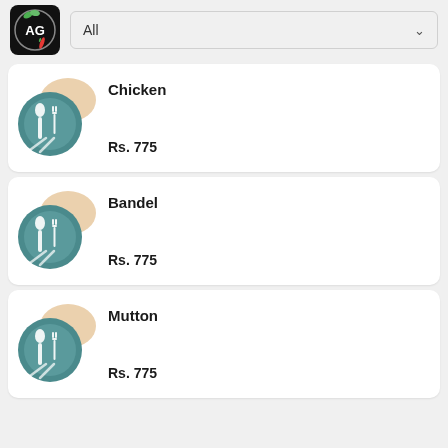[Figure (logo): AG restaurant logo — circular badge with green leaves and red chili on black background]
All
[Figure (illustration): Food plate icon with spoon and fork on beige cloth background]
Chicken
Rs. 775
[Figure (illustration): Food plate icon with spoon and fork on beige cloth background]
Bandel
Rs. 775
[Figure (illustration): Food plate icon with spoon and fork on beige cloth background]
Mutton
Rs. 775